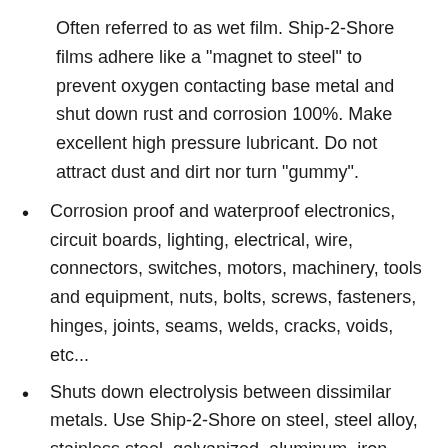Often referred to as wet film. Ship-2-Shore films adhere like a "magnet to steel" to prevent oxygen contacting base metal and shut down rust and corrosion 100%. Make excellent high pressure lubricant. Do not attract dust and dirt nor turn "gummy".
Corrosion proof and waterproof electronics, circuit boards, lighting, electrical, wire, connectors, switches, motors, machinery, tools and equipment, nuts, bolts, screws, fasteners, hinges, joints, seams, welds, cracks, voids, etc...
Shuts down electrolysis between dissimilar metals. Use Ship-2-Shore on steel, steel alloy, stainless steel, galvanized, aluminum, iron, copper.
Environment friendly. A little goes a long way and lasts. Ship-2-Shore films are classified non-hazardous, non-